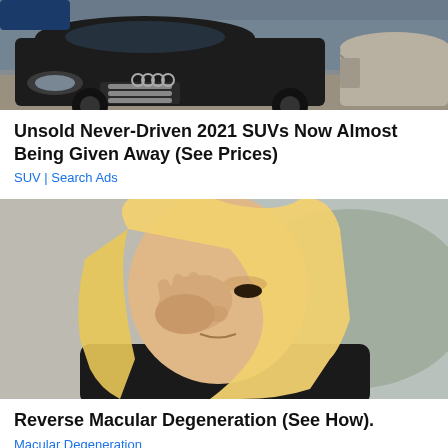[Figure (photo): Photo of dark Audi SUV in a parking lot, with another lighter car partially visible on the right side]
Unsold Never-Driven 2021 SUVs Now Almost Being Given Away (See Prices)
SUV | Search Ads
[Figure (photo): Photo of a blonde woman rubbing or touching her eye with her hand, looking distressed]
Reverse Macular Degeneration (See How).
Macular Degeneration